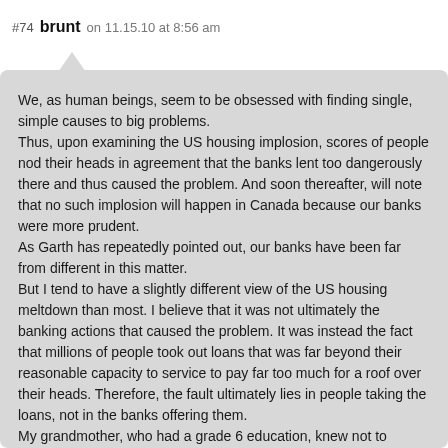#74  brunt  on 11.15.10 at 8:56 am
We, as human beings, seem to be obsessed with finding single, simple causes to big problems.
Thus, upon examining the US housing implosion, scores of people nod their heads in agreement that the banks lent too dangerously there and thus caused the problem. And soon thereafter, will note that no such implosion will happen in Canada because our banks were more prudent.
As Garth has repeatedly pointed out, our banks have been far from different in this matter.
But I tend to have a slightly different view of the US housing meltdown than most. I believe that it was not ultimately the banking actions that caused the problem. It was instead the fact that millions of people took out loans that was far beyond their reasonable capacity to service to pay far too much for a roof over their heads. Therefore, the fault ultimately lies in people taking the loans, not in the banks offering them.
My grandmother, who had a grade 6 education, knew not to borrow too